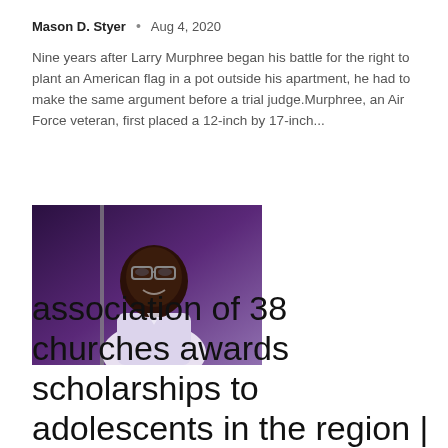Mason D. Styer  •  Aug 4, 2020
Nine years after Larry Murphree began his battle for the right to plant an American flag in a pot outside his apartment, he had to make the same argument before a trial judge.Murphree, an Air Force veteran, first placed a 12-inch by 17-inch...
[Figure (photo): Portrait photo of a young man wearing glasses and a white shirt, purple/dark background]
association of 38 churches awards scholarships to adolescents in the region | Latest news